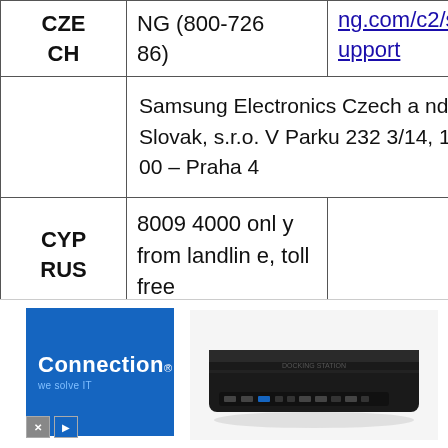| Country | Phone | Web |
| --- | --- | --- |
| CZECH | NG (800-726786) | ng.com/c2/support |
| CZECH | Samsung Electronics Czech and Slovak, s.r.o. V Parku 2323/14, 148 00 – Praha 4 |  |
| CYPRUS | 8009 4000 only from landline, toll free |  |
[Figure (photo): Advertisement banner showing 'Connection - we solve IT' blue logo on left and a black USB docking station device on the right]